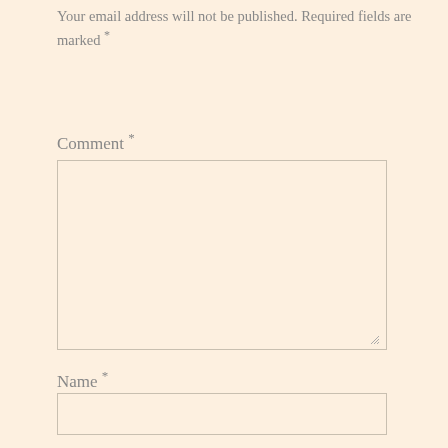Your email address will not be published. Required fields are marked *
Comment *
[Figure (screenshot): Large comment textarea input box with a resize handle at the bottom right corner]
Name *
[Figure (screenshot): Name text input field box]
Email *